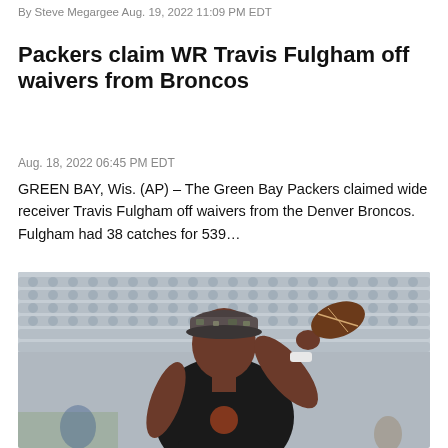By Steve Megargee Aug. 19, 2022 11:09 PM EDT
Packers claim WR Travis Fulgham off waivers from Broncos
Aug. 18, 2022 06:45 PM EDT
GREEN BAY, Wis. (AP) – The Green Bay Packers claimed wide receiver Travis Fulgham off waivers from the Denver Broncos. Fulgham had 38 catches for 539…
[Figure (photo): A football player wearing a black Cleveland Browns t-shirt and a camo cap is throwing a football in an outdoor stadium setting with empty gray seats in the background.]